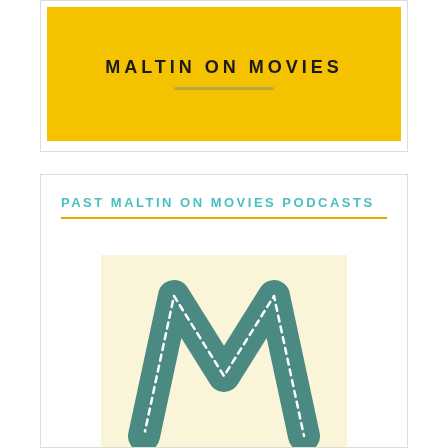[Figure (logo): Maltin on Movies logo on yellow/gold background with text 'MALTIN ON MOVIES' in dark uppercase letters and a horizontal line below]
PAST MALTIN ON MOVIES PODCASTS
[Figure (logo): Maltin on Movies podcast cover image: cream/pale yellow background with a teal film-strip letter M logo]